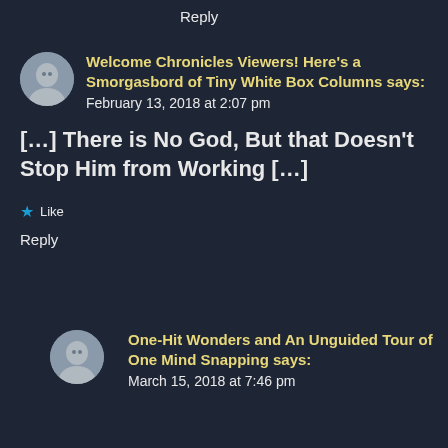Reply
Welcome Chronicles Viewers! Here's a Smorgasbord of Tiny White Box Columns says:
February 13, 2018 at 2:07 pm
[…] There is No God, But that Doesn't Stop Him from Working […]
Like
Reply
One-Hit Wonders and An Unguided Tour of One Mind Snapping says:
March 15, 2018 at 7:46 pm